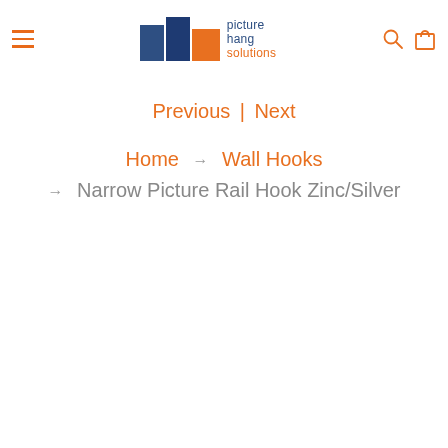[Figure (logo): Picture Hang Solutions logo with colored squares and text]
Previous | Next
Home → Wall Hooks → Narrow Picture Rail Hook Zinc/Silver